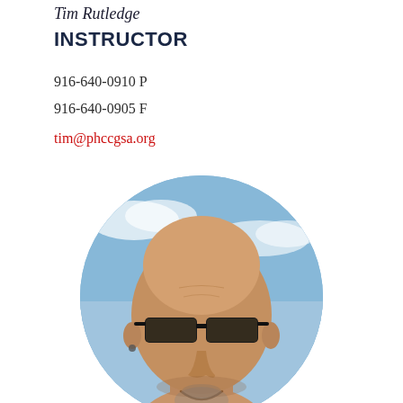Tim Rutledge
INSTRUCTOR
916-640-0910 P
916-640-0905 F
tim@phccgsa.org
[Figure (photo): Circular portrait photo of a bald man with dark sunglasses, a goatee, and an earring, smiling, with a blue sky background.]